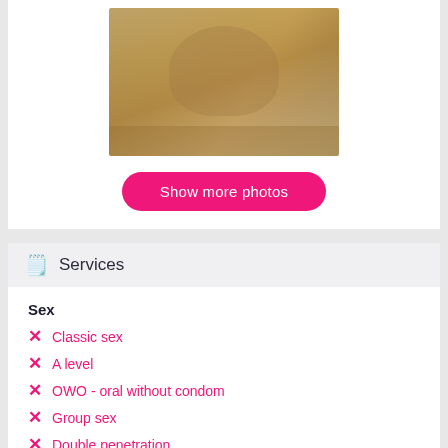[Figure (photo): Woman in bikini posing on sand in a desert/beach setting]
Show more photos
Services
Sex
Classic sex
A level
OWO - oral without condom
Group sex
Double penetration